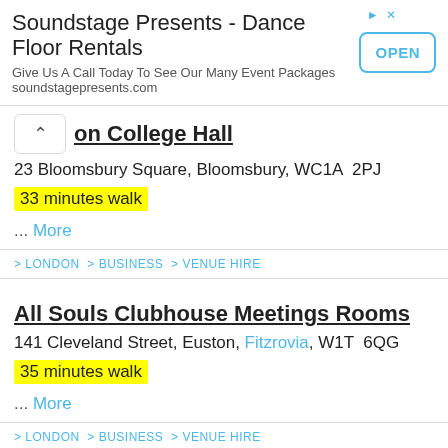[Figure (screenshot): Advertisement banner for Soundstage Presents - Dance Floor Rentals with an OPEN button]
on College Hall
23 Bloomsbury Square, Bloomsbury, WC1A  2PJ
33 minutes walk
... More
> LONDON > BUSINESS > VENUE HIRE
All Souls Clubhouse Meetings Rooms
141 Cleveland Street, Euston, Fitzrovia, W1T  6QG
35 minutes walk
... More
> LONDON > BUSINESS > VENUE HIRE
Abba Queens Gate London